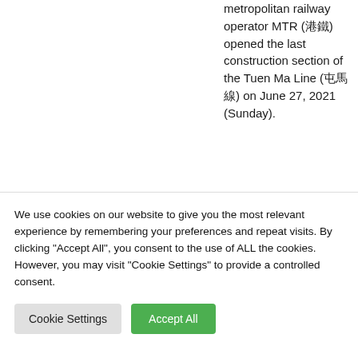Hong Kong's metropolitan railway operator MTR (港鐵) opened the last construction section of the Tuen Ma Line (屯馬線) on June 27, 2021 (Sunday).
READ MORE
Hong Kong Railway News #Hong Kong #MTR
We use cookies on our website to give you the most relevant experience by remembering your preferences and repeat visits. By clicking "Accept All", you consent to the use of ALL the cookies. However, you may visit "Cookie Settings" to provide a controlled consent.
Cookie Settings
Accept All